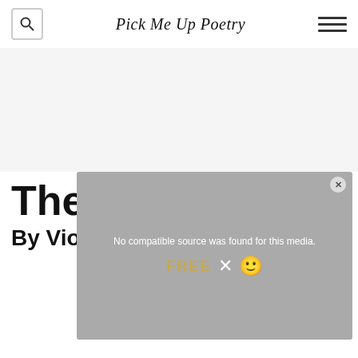Pick Me Up Poetry
[Figure (other): Large blank advertisement area, light gray background]
The Brig
By Violet Jacob
[Figure (other): Video overlay with gray background showing 'No compatible source was found for this media.' text, FREE label, X close button, and smiley face graphic]